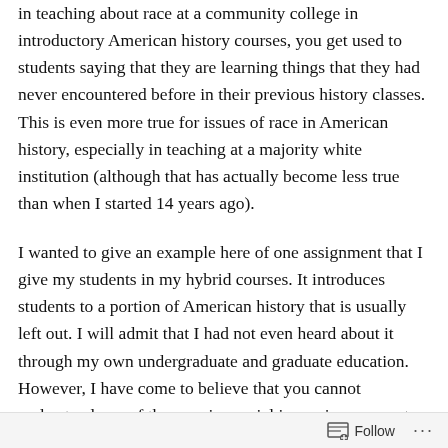in teaching about race at a community college in introductory American history courses, you get used to students saying that they are learning things that they had never encountered before in their previous history classes. This is even more true for issues of race in American history, especially in teaching at a majority white institution (although that has actually become less true than when I started 14 years ago).
I wanted to give an example here of one assignment that I give my students in my hybrid courses. It introduces students to a portion of American history that is usually left out. I will admit that I had not even heard about it through my own undergraduate and graduate education. However, I have come to believe that you cannot understand any of the ongoing racial issues in our country today, especially
Follow ···